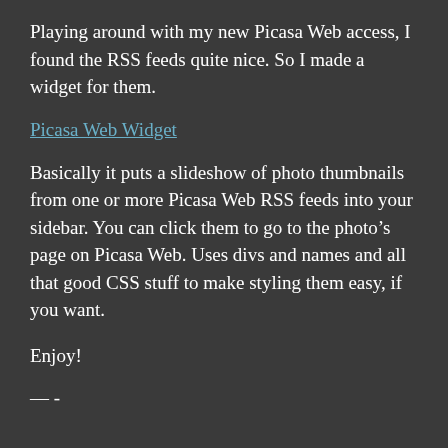Playing around with my new Picasa Web access, I found the RSS feeds quite nice. So I made a widget for them.
Picasa Web Widget
Basically it puts a slideshow of photo thumbnails from one or more Picasa Web RSS feeds into your sidebar. You can click them to go to the photo’s page on Picasa Web. Uses divs and names and all that good CSS stuff to make styling them easy, if you want.
Enjoy!
— -